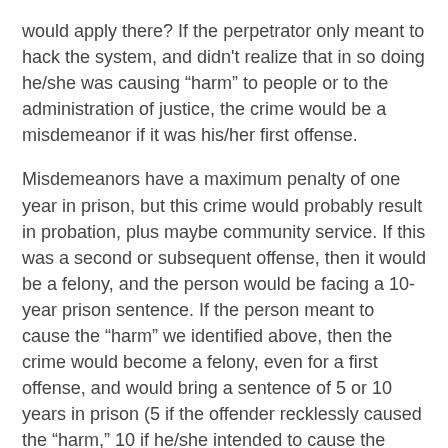would apply there? If the perpetrator only meant to hack the system, and didn't realize that in so doing he/she was causing “harm” to people or to the administration of justice, the crime would be a misdemeanor if it was his/her first offense.
Misdemeanors have a maximum penalty of one year in prison, but this crime would probably result in probation, plus maybe community service. If this was a second or subsequent offense, then it would be a felony, and the person would be facing a 10-year prison sentence. If the person meant to cause the “harm” we identified above, then the crime would become a felony, even for a first offense, and would bring a sentence of 5 or 10 years in prison (5 if the offender recklessly caused the “harm,” 10 if he/she intended to cause the “harm”). The actual process of sentencing would a number of factors into account, including offender characteristics (e.g., age, priors) and issues surrounding the “harm” inflicted (e.g., the amount of risk to public safety, etc.).
The federal statute does a better job of actually